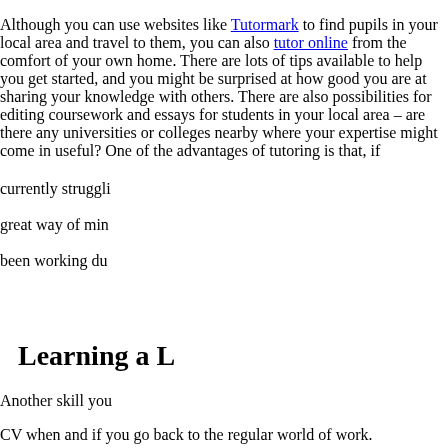Although you can use websites like Tutormark to find pupils in your local area and travel to them, you can also tutor online from the comfort of your own home. There are lots of tips available to help you get started, and you might be surprised at how good you are at sharing your knowledge with others. There are also possibilities for editing coursework and essays for students in your local area – are there any universities or colleges nearby where your expertise might come in useful? One of the advantages of tutoring is that, if [obscured] currently struggli[ng] great way of min[d] been working du[ring]
Learning a L[anguage]
Another skill you[...] CV when and if you go back to the regular world of work.
[Figure (other): Cookie consent popup overlay with title 'This website uses cookies', body text 'This website uses cookies to improve your experience. We'll assume you're ok with this, but you can opt-out if you wish.', Accept button and Read More link.]